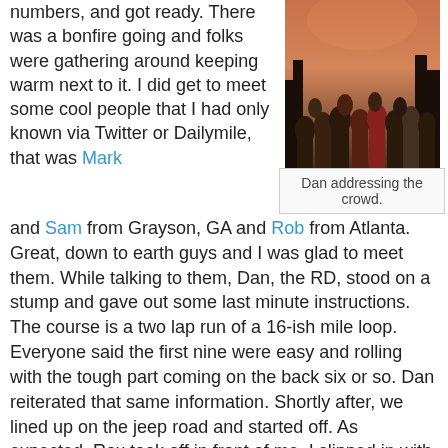numbers, and got ready. There was a bonfire going and folks were gathering around keeping warm next to it. I did get to meet some cool people that I had only known via Twitter or Dailymile, that was Mark and Sam from Grayson, GA and Rob from Atlanta. Great, down to earth guys and I was glad to meet them. While talking to them, Dan, the RD, stood on a stump and gave out some last minute instructions. The course is a two lap run of a 16-ish mile loop. Everyone said the first nine were easy and rolling with the tough part coming on the back six or so. Dan reiterated that same information. Shortly after, we lined up on the jeep road and started off. As expected, Rox took off in front of me. I slipped in with the front part of the middle of the pack and in no time we were on a wide track trail, then a single track trail with everybody falling into place.
[Figure (photo): Crowd of runners gathered outdoors at dawn near trees, with someone addressing the group.]
Dan addressing the crowd.
[Figure (photo): Runners on a trail in a wooded area, morning light.]
The morning was cool, but the forecast for the day was